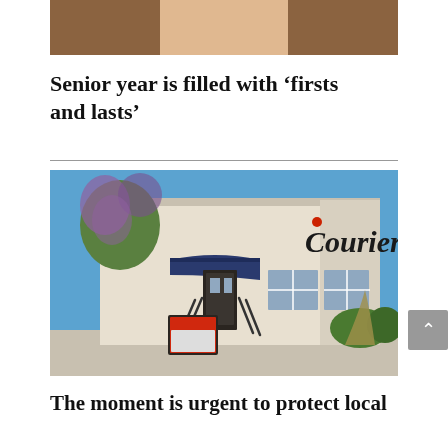[Figure (photo): Cropped photo of a woman with long brown hair, visible from shoulders up, wearing a necklace.]
Senior year is filled with 'firsts and lasts'
[Figure (photo): Exterior photo of the Courier newspaper building with blue awning, steps leading to entrance, flowering trees and shrubs, blue sky background.]
The moment is urgent to protect local